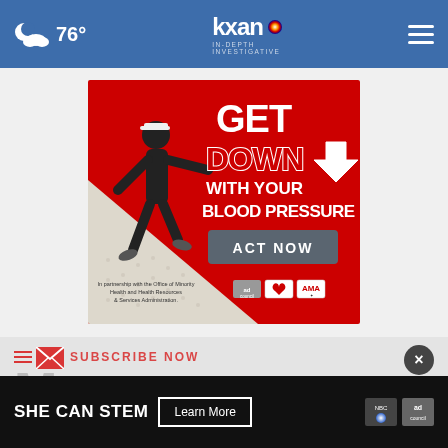76° | KXAN IN-DEPTH INVESTIGATIVE
[Figure (infographic): Red advertisement banner: 'GET DOWN WITH YOUR BLOOD PRESSURE — ACT NOW', in partnership with the Office of Minority Health and Health Resources & Services Administration, with ad council, American Heart Association, and AMA logos. Features a running man silhouette.]
[Figure (infographic): Subscribe Now section partially visible with large M letter and envelope icon, with a dark close button (×).]
[Figure (infographic): Bottom dark banner ad: 'SHE CAN STEM | Learn More' with NBC and ad council logos.]